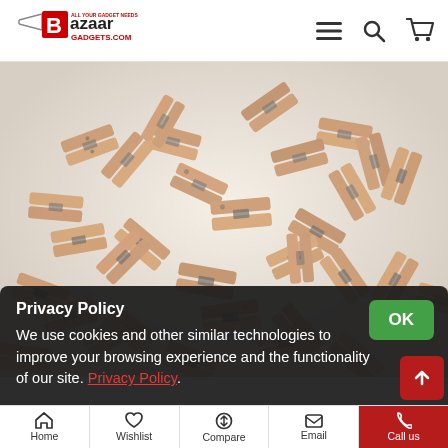[Figure (logo): Bazaar Gadgets logo with stylized B and text BazaarGadgets.com]
[Figure (photo): A large pile of natural wood clothespins/pegs with metal springs, photographed against a white background]
Privacy Policy
We use cookies and other similar technologies to improve your browsing experience and the functionality of our site. Privacy Policy.
Home | Wishlist | Compare | Email | Call us